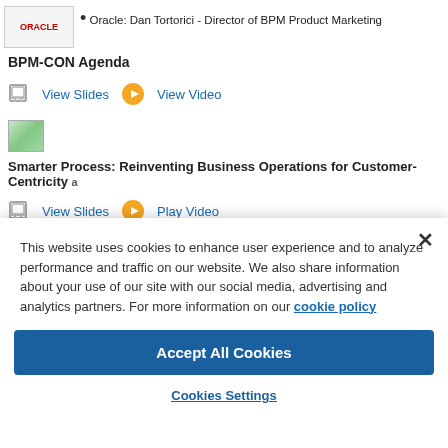Oracle: Dan Tortorici - Director of BPM Product Marketing
BPM-CON Agenda
View Slides   View Video
[Figure (screenshot): Small thumbnail image of a presentation slide]
Smarter Process: Reinventing Business Operations for Customer-Centricity
View Slides   Play Video
Robert Sawyer
This website uses cookies to enhance user experience and to analyze performance and traffic on our website. We also share information about your use of our site with our social media, advertising and analytics partners. For more information on our cookie policy
Accept All Cookies
Cookies Settings